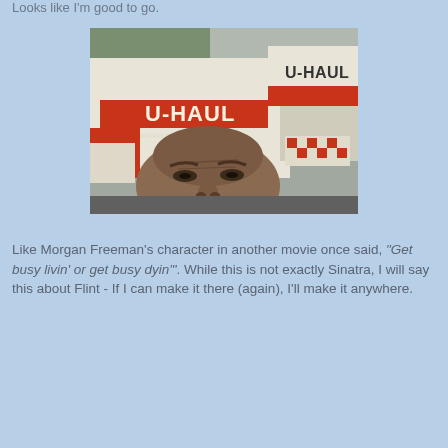Looks like I'm good to go.
[Figure (photo): A man taking a selfie in front of U-Haul moving trucks in a parking lot. The U-Haul trucks are white with orange/red stripe and 'U-HAUL' branding visible. The man is middle-aged, bald, looking up at the camera.]
Like Morgan Freeman's character in another movie once said, "Get busy livin' or get busy dyin'". While this is not exactly Sinatra, I will say this about Flint - If I can make it there (again), I'll make it anywhere.